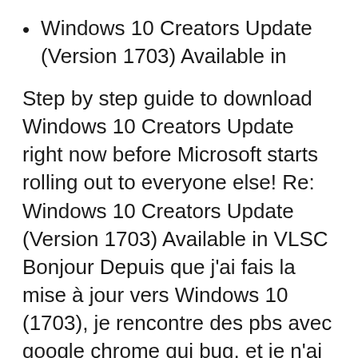Windows 10 Creators Update (Version 1703) Available in
Step by step guide to download Windows 10 Creators Update right now before Microsoft starts rolling out to everyone else! Re: Windows 10 Creators Update (Version 1703) Available in VLSC Bonjour Depuis que j'ai fais la mise à jour vers Windows 10 (1703), je rencontre des pbs avec google chrome qui bug, et je n'ai plus accès à MyTF1.fr par exemple, et d'autres bugs.
The SCCM OSD Task "Install Software Updates" was used in our OSD sequence (which worked perfectly on 1607). This "Install Software Updates"